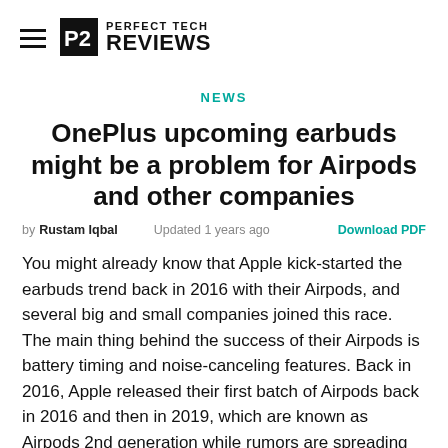PERFECT TECH REVIEWS
NEWS
OnePlus upcoming earbuds might be a problem for Airpods and other companies
by Rustam Iqbal   Updated 1 years ago   Download PDF
You might already know that Apple kick-started the earbuds trend back in 2016 with their Airpods, and several big and small companies joined this race. The main thing behind the success of their Airpods is battery timing and noise-canceling features. Back in 2016, Apple released their first batch of Airpods back in 2016 and then in 2019, which are known as Airpods 2nd generation while rumors are spreading that Apple